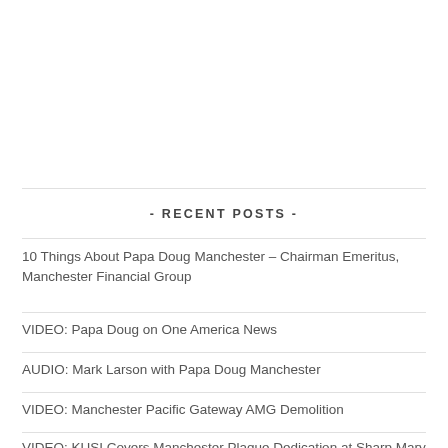- RECENT POSTS -
10 Things About Papa Doug Manchester – Chairman Emeritus, Manchester Financial Group
VIDEO: Papa Doug on One America News
AUDIO: Mark Larson with Papa Doug Manchester
VIDEO: Manchester Pacific Gateway AMG Demolition
VIDEO: KUSI Covers Manchester Plaque Dedication at Sharp Mary Birch